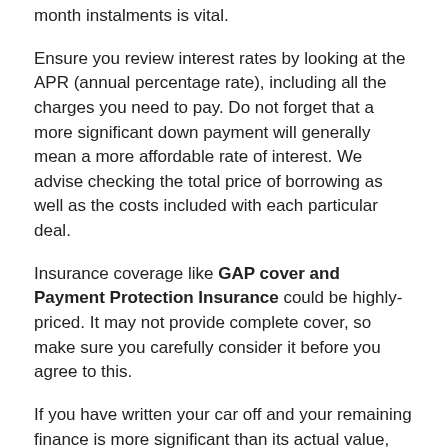month instalments is vital.
Ensure you review interest rates by looking at the APR (annual percentage rate), including all the charges you need to pay. Do not forget that a more significant down payment will generally mean a more affordable rate of interest. We advise checking the total price of borrowing as well as the costs included with each particular deal.
Insurance coverage like GAP cover and Payment Protection Insurance could be highly-priced. It may not provide complete cover, so make sure you carefully consider it before you agree to this.
If you have written your car off and your remaining finance is more significant than its actual value, GAP coverage should payout. If you go over the agreed mileage, additional charges or early repayment might become evident in PCP and personal leases.
How popular is car leasing in the United Kingdom?
Personal leasing and business leasing have recently grown in popularity; according to the most recent industry figures, over 1.6 million cars being let out on their biggest vehicles